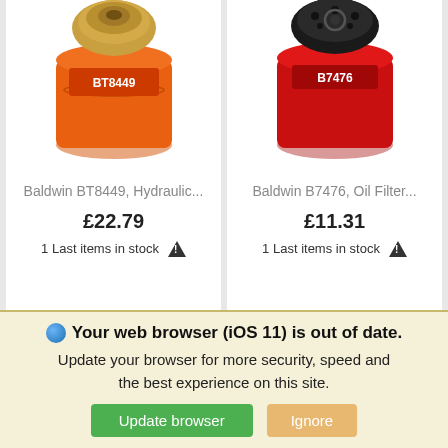[Figure (photo): Orange Baldwin BT8449 hydraulic filter with gold top, shown from top and side angle, with BT8449 label visible]
Baldwin BT8449, Hydraulic...
£22.79
1 Last items in stock ⚠
[Figure (photo): Red Baldwin B7476 oil filter shown from top and side, with B7476 label visible]
Baldwin B7476, Oil Filter...
£11.31
1 Last items in stock ⚠
🌐 Your web browser (iOS 11) is out of date. Update your browser for more security, speed and the best experience on this site. Update browser  Ignore